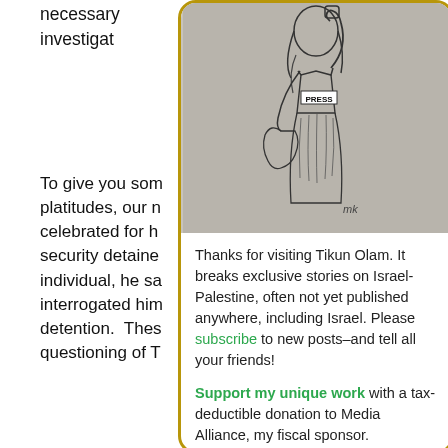necessary investigat
To give you som platitudes, our n celebrated for h security detaine individual, he sa interrogated him detention. Thes questioning of T
Privacy & Cookies: website, you agree To find out more, i Policy
[Figure (illustration): Illustration of a woman dressed as Statue of Liberty wearing a PRESS vest, holding a fist raised in the air and holding a map of Palestine, in black and white sketch style on grey background.]
Thanks for visiting Tikun Olam. It breaks exclusive stories on Israel-Palestine, often not yet published anywhere, including Israel. Please subscribe to new posts–and tell all your friends! Support my unique work with a tax-deductible donation to Media Alliance, my fiscal sponsor.